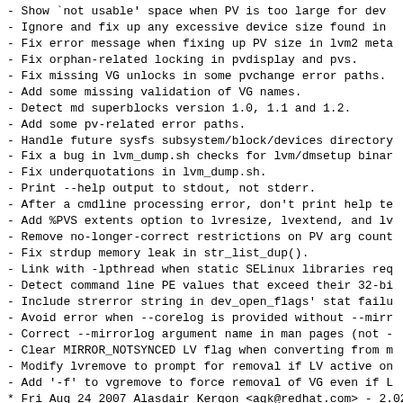- Show `not usable' space when PV is too large for dev
- Ignore and fix up any excessive device size found in
- Fix error message when fixing up PV size in lvm2 meta
- Fix orphan-related locking in pvdisplay and pvs.
- Fix missing VG unlocks in some pvchange error paths.
- Add some missing validation of VG names.
- Detect md superblocks version 1.0, 1.1 and 1.2.
- Add some pv-related error paths.
- Handle future sysfs subsystem/block/devices directory
- Fix a bug in lvm_dump.sh checks for lvm/dmsetup binar
- Fix underquotations in lvm_dump.sh.
- Print --help output to stdout, not stderr.
- After a cmdline processing error, don't print help te
- Add %PVS extents option to lvresize, lvextend, and lv
- Remove no-longer-correct restrictions on PV arg count
- Fix strdup memory leak in str_list_dup().
- Link with -lpthread when static SELinux libraries req
- Detect command line PE values that exceed their 32-bi
- Include strerror string in dev_open_flags' stat failu
- Avoid error when --corelog is provided without --mirr
- Correct --mirrorlog argument name in man pages (not -
- Clear MIRROR_NOTSYNCED LV flag when converting from m
- Modify lvremove to prompt for removal if LV active on
- Add '-f' to vgremove to force removal of VG even if L
* Fri Aug 24 2007 Alasdair Kergon <agk@redhat.com> - 2.02
- vgscan and pvscan now trigger clvmd -R, which should
- Fix clvmd logging so you can get lvm-level debugging
- Allow clvmd debug to be turned on in a running daemon
- Add more cluster info to lvmdump.
- Fix lvdisplay man page to say LV size is reported in
- Fix location of printout and if pv loc ation is